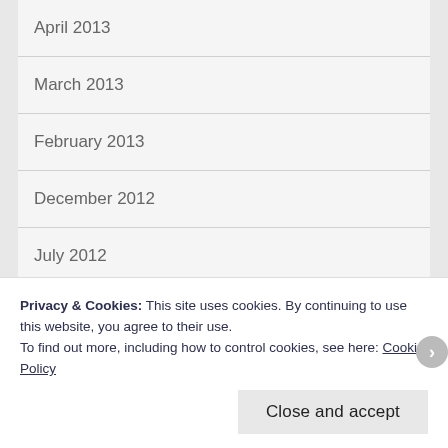April 2013
March 2013
February 2013
December 2012
July 2012
June 2012
May 2012
Privacy & Cookies: This site uses cookies. By continuing to use this website, you agree to their use.
To find out more, including how to control cookies, see here: Cookie Policy
Close and accept